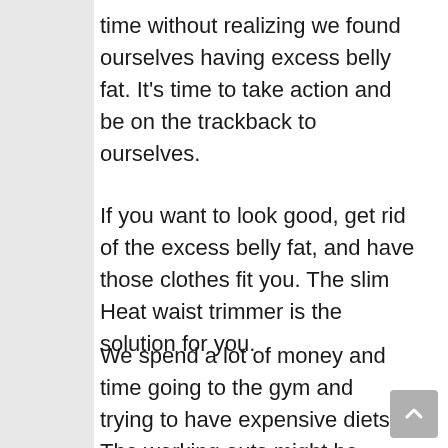time without realizing we found ourselves having excess belly fat. It's time to take action and be on the trackback to ourselves.
If you want to look good, get rid of the excess belly fat, and have those clothes fit you. The slim Heat waist trimmer is the solution for you.
We spend a lot of money and time going to the gym and trying to have expensive diets. The working outs might be slow. If you invest in Slim Heat Neoprene Waist Trimmer it will help you burn you maximize your performance as well as